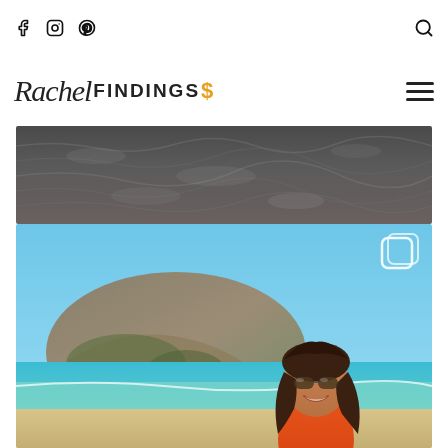Rachel Findings - social media blog header with Facebook, Instagram, Pinterest icons and search icon
[Figure (logo): Rachel Findings handwritten script logo with dollar sign accent in orange]
[Figure (photo): Aerial or close up view of dark rippling ocean water surface]
[Figure (photo): Woman in orange top wearing aviator sunglasses smiling on a beach with turquoise water and a sandy hill/mountain in the background. Multi-image icon overlay in top right corner.]